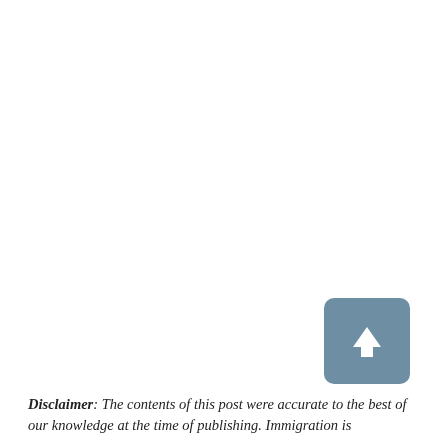[Figure (other): A blue-grey rounded square button with a white upward-pointing arrow icon, used as a scroll-to-top navigation button.]
Disclaimer: The contents of this post were accurate to the best of our knowledge at the time of publishing. Immigration is